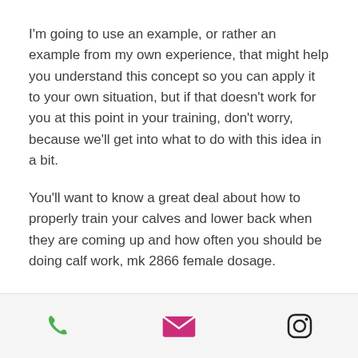I'm going to use an example, or rather an example from my own experience, that might help you understand this concept so you can apply it to your own situation, but if that doesn't work for you at this point in your training, don't worry, because we'll get into what to do with this idea in a bit.
You'll want to know a great deal about how to properly train your calves and lower back when they are coming up and how often you should be doing calf work, mk 2866 female dosage.
Now calves are the muscle we're aiming to make the most out of, especially your calves that are coming from the back – they are the main part of your training so we might as
[Figure (other): Mobile app bottom navigation bar with phone icon (green), email/envelope icon (pink/magenta), and Instagram icon (black outline)]